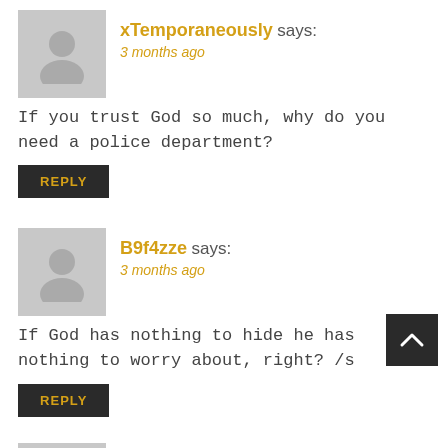[Figure (illustration): Gray avatar silhouette icon for user xTemporaneously]
xTemporaneously says:
3 months ago
If you trust God so much, why do you need a police department?
REPLY
[Figure (illustration): Gray avatar silhouette icon for user B9f4zze]
B9f4zze says:
3 months ago
If God has nothing to hide he has nothing to worry about, right? /s
REPLY
[Figure (illustration): Gray avatar silhouette icon for user jeffreywilfong]
jeffreywilfong says:
3 months ago